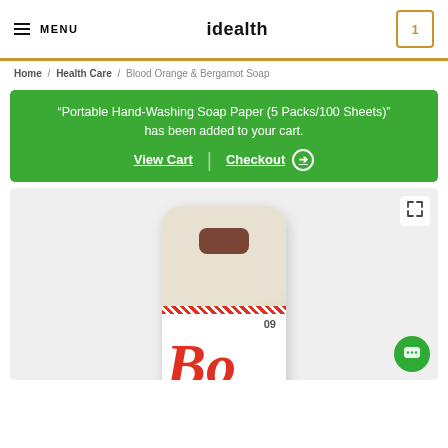MENU | idealth | Cart: 1
Home / Health Care / Blood Orange & Bergamot Soap
"Portable Hand-Washing Soap Paper (5 Packs/100 Sheets)" has been added to your cart. View Cart | Checkout
[Figure (photo): Blood Orange & Bergamot Soap bar in cardboard packaging with a slot cutout, showing partial 'Bo' text logo and number 09 on label]